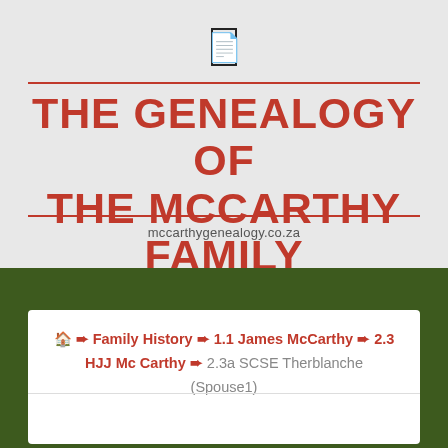[Figure (other): Small document/page icon in a rectangle outline]
THE GENEALOGY OF THE MCCARTHY FAMILY
mccarthygenealogy.co.za
🏠 ➨ Family History ➨ 1.1 James McCarthy ➨ 2.3 HJJ Mc Carthy ➨ 2.3a SCSE Therblanche (Spouse1)